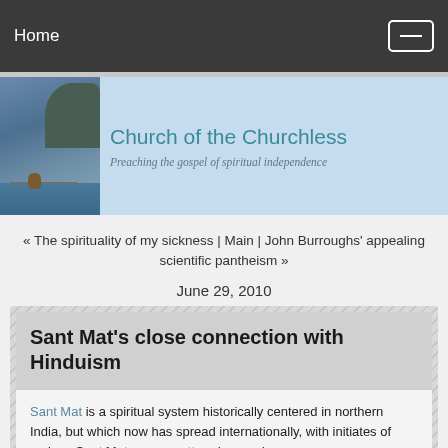Home
[Figure (illustration): Church of the Churchless website banner showing a lake/dock scene with a dog, with text 'Church of the Churchless' and subtitle 'Preaching the gospel of spiritual independence']
« The spirituality of my sickness | Main | John Burroughs' appealing scientific pantheism »
June 29, 2010
Sant Mat's close connection with Hinduism
Sant Mat is a spiritual system historically centered in northern India, but which now has spread internationally, with initiates of various Sant Mat gurus scattered around